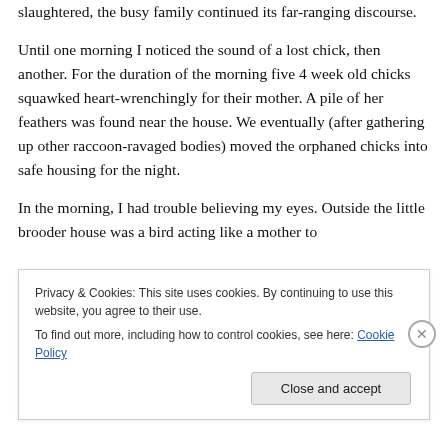slaughtered, the busy family continued its far-ranging discourse.
Until one morning I noticed the sound of a lost chick, then another. For the duration of the morning five 4 week old chicks squawked heart-wrenchingly for their mother. A pile of her feathers was found near the house. We eventually (after gathering up other raccoon-ravaged bodies) moved the orphaned chicks into safe housing for the night.
In the morning, I had trouble believing my eyes. Outside the little brooder house was a bird acting like a mother to
Privacy & Cookies: This site uses cookies. By continuing to use this website, you agree to their use.
To find out more, including how to control cookies, see here: Cookie Policy
Close and accept